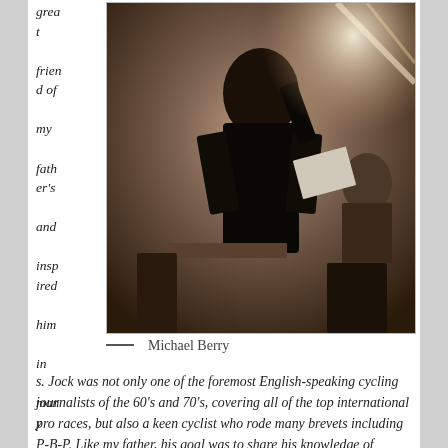great friend of my father's and inspired him in many ways. Jock was not only one of the foremost English-speaking cycling journalists of the 60's and 70's, covering all of the top international pro races, but also a keen cyclist who rode many brevets including P-B-P. Like my father, his goal was to share his knowledge of cycling and to encourage
[Figure (photo): A person standing indoors, photographed from behind/side, in what appears to be a cafe or restaurant setting with other people and lighting visible in the background.]
— Michael Berry